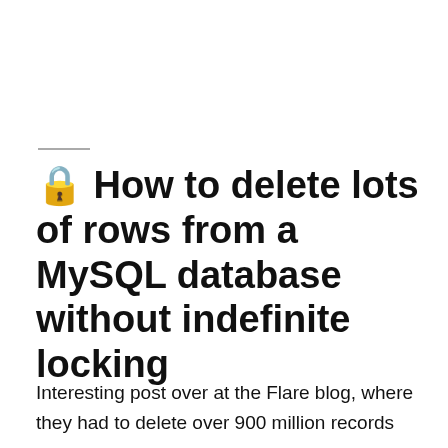🔒 How to delete lots of rows from a MySQL database without indefinite locking
Interesting post over at the Flare blog, where they had to delete over 900 million records